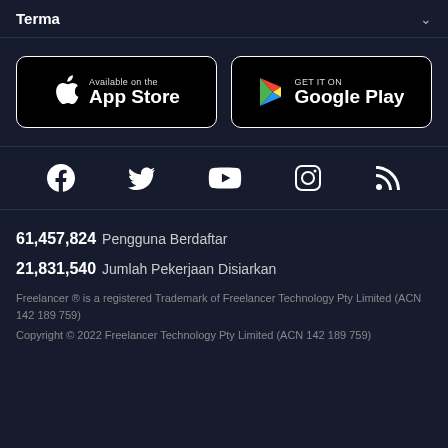Terma
[Figure (screenshot): App Store download button and Google Play download button side by side]
[Figure (screenshot): Social media icons: Facebook, Twitter, YouTube, Instagram, RSS]
61,457,824  Pengguna Berdaftar
21,831,540  Jumlah Pekerjaan Disiarkan
Freelancer ® is a registered Trademark of Freelancer Technology Pty Limited (ACN 142 189 759)
Copyright © 2022 Freelancer Technology Pty Limited (ACN 142 189 759)